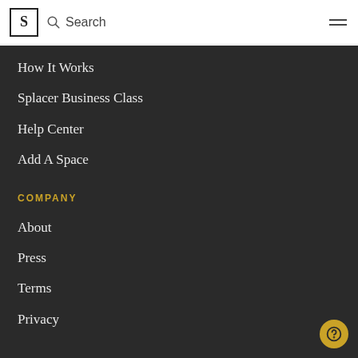S  Search
How It Works
Splacer Business Class
Help Center
Add A Space
COMPANY
About
Press
Terms
Privacy